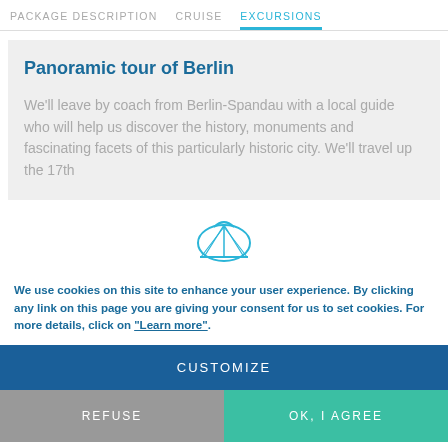PACKAGE DESCRIPTION   CRUISE   EXCURSIONS
Panoramic tour of Berlin
We'll leave by coach from Berlin-Spandau with a local guide who will help us discover the history, monuments and fascinating facets of this particularly historic city. We'll travel up the 17th
[Figure (illustration): Shell/cruise company logo icon in outline style]
We use cookies on this site to enhance your user experience. By clicking any link on this page you are giving your consent for us to set cookies. For more details, click on "Learn more".
CUSTOMIZE
REFUSE
OK, I AGREE